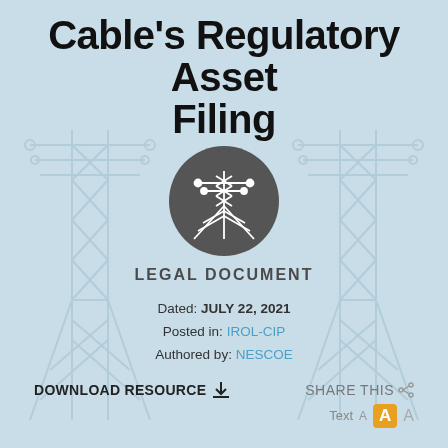Cable's Regulatory Asset Filing
[Figure (illustration): Power transmission tower icon in a dark gray circle, with two large power tower silhouettes in the background]
LEGAL DOCUMENT
Dated: JULY 22, 2021
Posted in: IROL-CIP
Authored by: NESCOE
DOWNLOAD RESOURCE
SHARE THIS